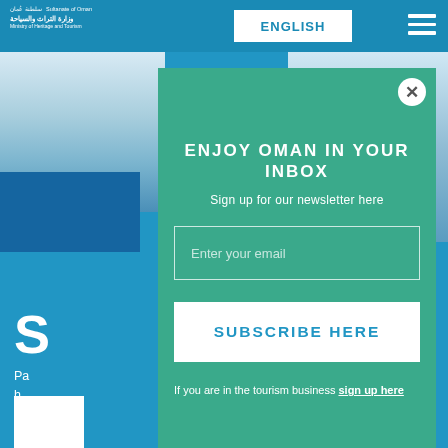Ministry of Heritage and Tourism | ENGLISH
ENJOY OMAN IN YOUR INBOX
Sign up for our newsletter here
Enter your email
SUBSCRIBE HERE
If you are in the tourism business sign up here